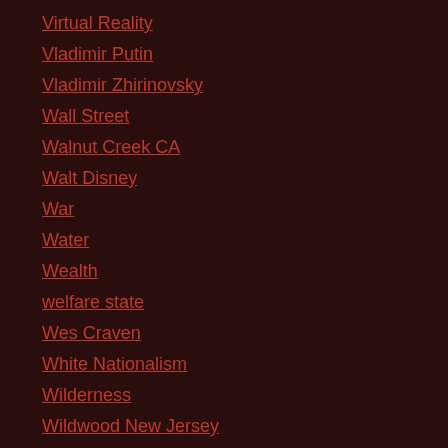Virtual Reality
Vladimir Putin
Vladimir Zhirinovsky
Wall Street
Walnut Creek CA
Walt Disney
War
Water
Wealth
welfare state
Wes Craven
White Nationalism
Wilderness
Wildwood New Jersey
Will Durham